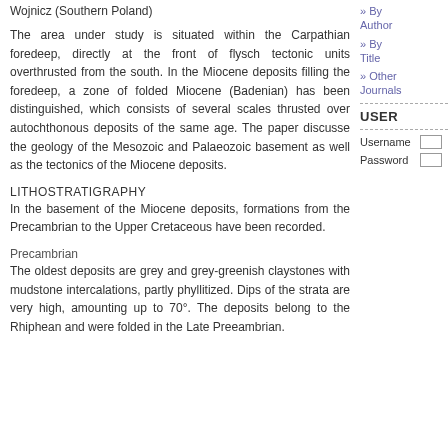Wojnicz (Southern Poland)
The area under study is situated within the Carpathian foredeep, directly at the front of flysch tectonic units overthrusted from the south. In the Miocene deposits filling the foredeep, a zone of folded Miocene (Badenian) has been distinguished, which consists of several scales thrusted over autochthonous deposits of the same age. The paper discusse the geology of the Mesozoic and Palaeozoic basement as well as the tectonics of the Miocene deposits.
» By Author
» By Title
» Other Journals
USER
Username
Password
LITHOSTRATIGRAPHY
In the basement of the Miocene deposits, formations from the Precambrian to the Upper Cretaceous have been recorded.
Precambrian
The oldest deposits are grey and grey-greenish claystones with mudstone intercalations, partly phyllitized. Dips of the strata are very high, amounting up to 70°. The deposits belong to the Rhiphean and were folded in the Late Preeambrian.